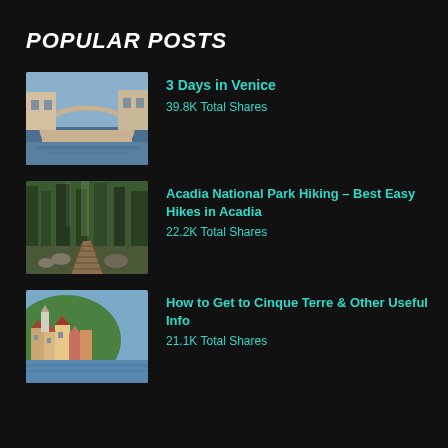POPULAR POSTS
[Figure (photo): Rialto Bridge in Venice with arched bridge and buildings]
3 Days in Venice
39.8K Total Shares
[Figure (photo): Wooden boardwalk trail through Acadia National Park forest]
Acadia National Park Hiking – Best Easy Hikes in Acadia
22.2K Total Shares
[Figure (photo): Cinque Terre colorful buildings on hillside by water]
How to Get to Cinque Terre & Other Useful Info
21.1K Total Shares